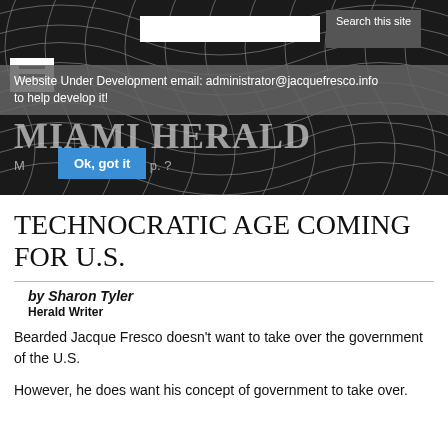[Figure (screenshot): Miami Herald website header with dark mesh/wave background, search bar, hamburger menu icon, gray notification banner, Miami Herald masthead, date line, and Ok got it button]
Technocratic age coming for U.S.
by Sharon Tyler
Herald Writer
Bearded Jacque Fresco doesn't want to take over the government of the U.S.
However, he does want his concept of government to take over.